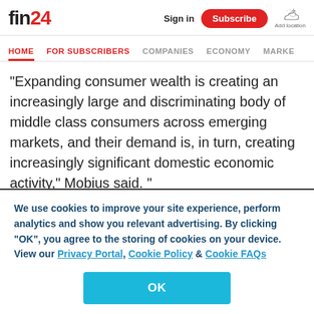fin24 | Sign in | Subscribe | Add location
HOME | FOR SUBSCRIBERS | COMPANIES | ECONOMY | MARKE
"Expanding consumer wealth is creating an increasingly large and discriminating body of middle class consumers across emerging markets, and their demand is, in turn, creating increasingly significant domestic economic activity," Mobius said. "
"With a relatively high proportion of the population in
We use cookies to improve your site experience, perform analytics and show you relevant advertising. By clicking "OK", you agree to the storing of cookies on your device. View our Privacy Portal, Cookie Policy & Cookie FAQs
OK